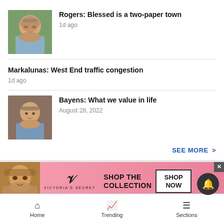[Figure (photo): Headshot of a middle-aged man with gray hair and beard, smiling, outdoors]
Rogers: Blessed is a two-paper town
1d ago
Markalunas: West End traffic congestion
1d ago
[Figure (photo): Headshot of a young man in a light blue shirt, smiling, leaning forward]
Bayens: What we value in life
August 28, 2022
SEE MORE >
[Figure (photo): Victoria's Secret advertisement banner with woman model and shop now button]
Home   Trending   Sections